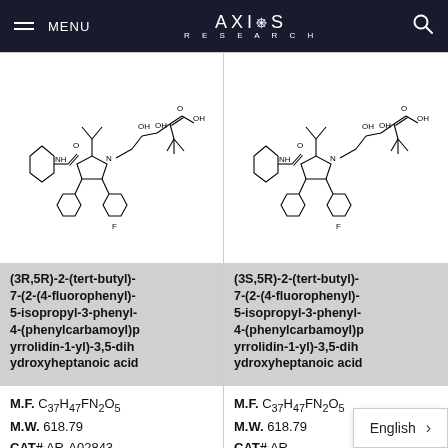MENU | AXIOS RESEARCH
[Figure (chemical-structure): Chemical structure of (3R,5R)-2-(tert-butyl)-7-(2-(4-fluorophenyl)-5-isopropyl-3-phenyl-4-(phenylcarbamoyl)pyrrolidin-1-yl)-3,5-dihydroxyheptanoic acid]
(3R,5R)-2-(tert-butyl)-7-(2-(4-fluorophenyl)-5-isopropyl-3-phenyl-4-(phenylcarbamoyl)pyrrolidin-1-yl)-3,5-dihydroxyheptanoic acid
M.F. C37H47FN2O5
M.W. 618.79
CAT# AR-A02843
[Figure (chemical-structure): Chemical structure of (3S,5R)-2-(tert-butyl)-7-(2-(4-fluorophenyl)-5-isopropyl-3-phenyl-4-(phenylcarbamoyl)pyrrolidin-1-yl)-3,5-dihydroxyheptanoic acid]
(3S,5R)-2-(tert-butyl)-7-(2-(4-fluorophenyl)-5-isopropyl-3-phenyl-4-(phenylcarbamoyl)pyrrolidin-1-yl)-3,5-dihydroxyheptanoic acid
M.F. C37H47FN2O5
M.W. 618.79
CAT# AR-
English >